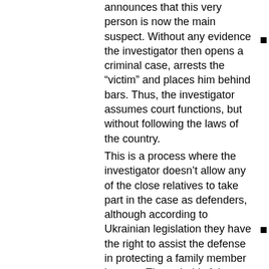announces that this very person is now the main suspect. Without any evidence the investigator then opens a criminal case, arrests the “victim” and places him behind bars. Thus, the investigator assumes court functions, but without following the laws of the country.
This is a process where the investigator doesn’t allow any of the close relatives to take part in the case as defenders, although according to Ukrainian legislation they have the right to assist the defense in protecting a family member in court. Through this false process, close relatives are illegally eliminated from the case.
Under this process, documents from an influential institution (the Security Service of Ukraine) are used to allegedly confirm corrupt contracts and become the basis for detaining a person in jail. The documents allegedly contain information from close relatives (wife, son, daughter and brother) and thus, according to the documents, these close relatives can also be suspected of corruption. Under this logic